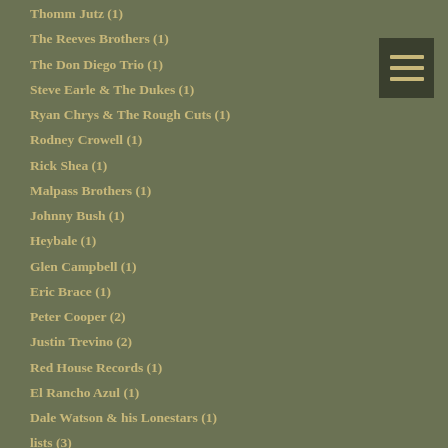Thomm Jutz (1)
The Reeves Brothers (1)
The Don Diego Trio (1)
Steve Earle & The Dukes (1)
Ryan Chrys & The Rough Cuts (1)
Rodney Crowell (1)
Rick Shea (1)
Malpass Brothers (1)
Johnny Bush (1)
Heybale (1)
Glen Campbell (1)
Eric Brace (1)
Peter Cooper (2)
Justin Trevino (2)
Red House Records (1)
El Rancho Azul (1)
Dale Watson & his Lonestars (1)
lists (3)